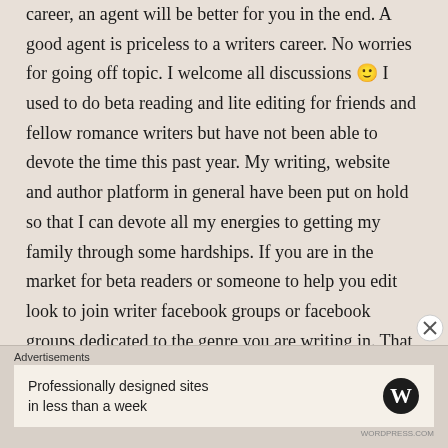career, an agent will be better for you in the end. A good agent is priceless to a writers career. No worries for going off topic. I welcome all discussions 🙂 I used to do beta reading and lite editing for friends and fellow romance writers but have not been able to devote the time this past year. My writing, website and author platform in general have been put on hold so that I can devote all my energies to getting my family through some hardships. If you are in the market for beta readers or someone to help you edit look to join writer facebook groups or facebook groups dedicated to the genre you are writing in. That is where you can go to find a wealth of help for free.
Advertisements
[Figure (other): WordPress advertisement banner: 'Professionally designed sites in less than a week' with WordPress logo]